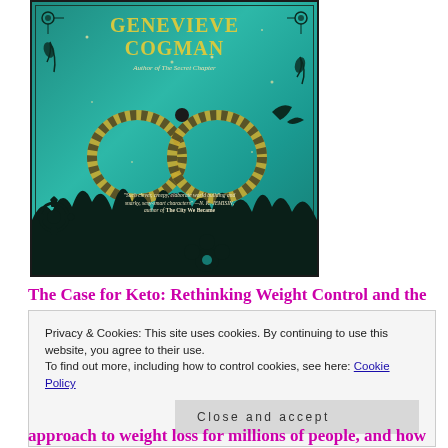[Figure (illustration): Book cover of a novel by Genevieve Cogman. Teal/green background with ornate black botanical and fauna silhouettes, two snake ouroboros rings forming an infinity symbol in the center. Text reads 'GENEVIEVE COGMAN', 'Author of The Secret Chapter'. Quote from N.K. Jemisin at the bottom.]
The Case for Keto: Rethinking Weight Control and the
Privacy & Cookies: This site uses cookies. By continuing to use this website, you agree to their use.
To find out more, including how to control cookies, see here: Cookie Policy
Close and accept
approach to weight loss for millions of people, and how